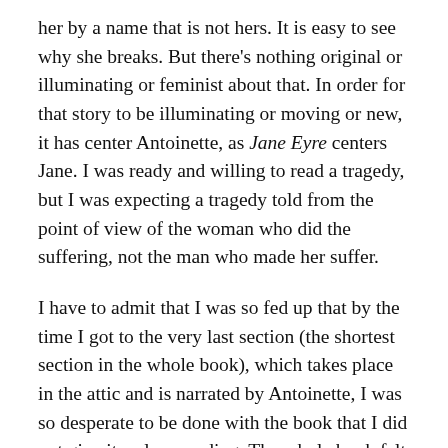her by a name that is not hers. It is easy to see why she breaks. But there's nothing original or illuminating or feminist about that. In order for that story to be illuminating or moving or new, it has center Antoinette, as Jane Eyre centers Jane. I was ready and willing to read a tragedy, but I was expecting a tragedy told from the point of view of the woman who did the suffering, not the man who made her suffer.
I have to admit that I was so fed up that by the time I got to the very last section (the shortest section in the whole book), which takes place in the attic and is narrated by Antoinette, I was so desperate to be done with the book that I did not give it a close reading. The whole book felt dreamlike and